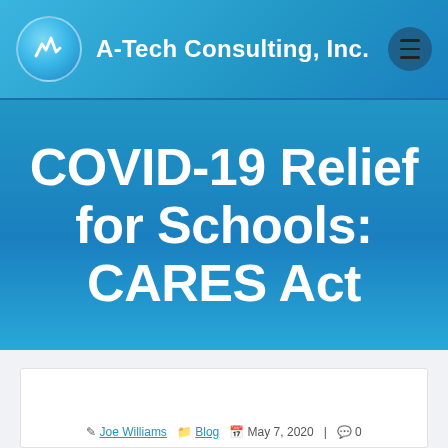A-Tech Consulting, Inc.
COVID-19 Relief for Schools: CARES Act
Joe Williams  Blog  May 7, 2020  |  0